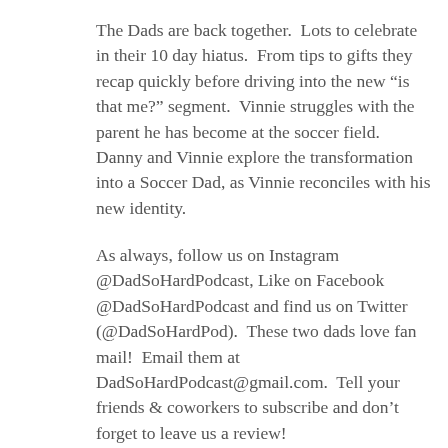The Dads are back together.  Lots to celebrate in their 10 day hiatus.  From tips to gifts they recap quickly before driving into the new “is that me?” segment.  Vinnie struggles with the parent he has become at the soccer field.  Danny and Vinnie explore the transformation into a Soccer Dad, as Vinnie reconciles with his new identity.
As always, follow us on Instagram @DadSoHardPodcast, Like on Facebook @DadSoHardPodcast and find us on Twitter (@DadSoHardPod).  These two dads love fan mail!  Email them at DadSoHardPodcast@gmail.com.  Tell your friends & coworkers to subscribe and don’t forget to leave us a review!
Recorded at the official Dad So Hard Podcast Studios, New York City – May 2019.
All things discussed on the Dad So Hard podcast are our own opinions and do not represent any brands or products...